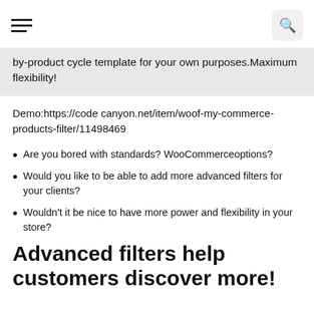[hamburger menu icon] [search icon]
by-product cycle template for your own purposes.Maximum flexibility!
Demo:https://code canyon.net/item/woof-my-commerce-products-filter/11498469
Are you bored with standards? WooCommerceoptions?
Would you like to be able to add more advanced filters for your clients?
Wouldn't it be nice to have more power and flexibility in your store?
Advanced filters help customers discover more!